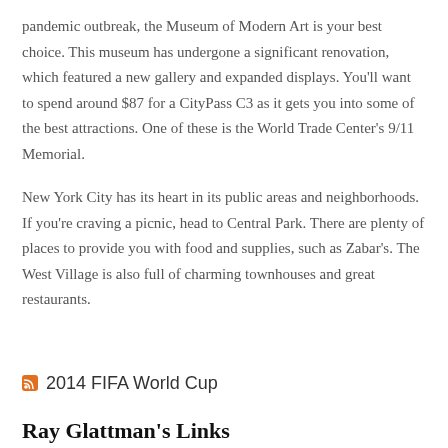pandemic outbreak, the Museum of Modern Art is your best choice. This museum has undergone a significant renovation, which featured a new gallery and expanded displays. You'll want to spend around $87 for a CityPass C3 as it gets you into some of the best attractions. One of these is the World Trade Center's 9/11 Memorial.
New York City has its heart in its public areas and neighborhoods. If you're craving a picnic, head to Central Park. There are plenty of places to provide you with food and supplies, such as Zabar's. The West Village is also full of charming townhouses and great restaurants.
2014 FIFA World Cup
Ray Glattman's Links
Ray Glattman Real Estate